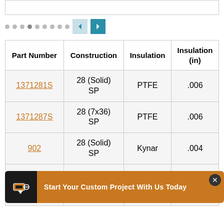| Part Number | Construction | Insulation | Insulation (in) |
| --- | --- | --- | --- |
| 1371281S | 28 (Solid) SP | PTFE | .006 |
| 1371287S | 28 (7x36) SP | PTFE | .006 |
| 902 | 28 (Solid) SP | Kynar | .004 |
| 1815281... | 28 (10x40) |  |  |
| 1815287N | 28 (7x36) | PTFE | .012 |
Start Your Custom Project With Us Today